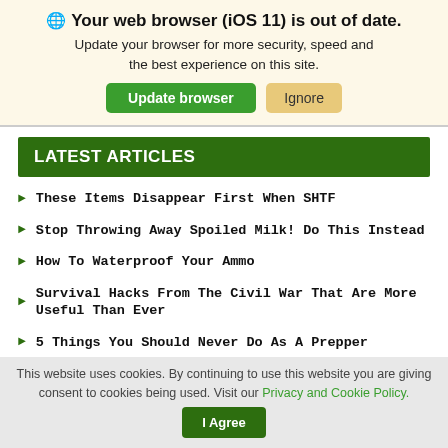🌐 Your web browser (iOS 11) is out of date. Update your browser for more security, speed and the best experience on this site.
LATEST ARTICLES
These Items Disappear First When SHTF
Stop Throwing Away Spoiled Milk! Do This Instead
How To Waterproof Your Ammo
Survival Hacks From The Civil War That Are More Useful Than Ever
5 Things You Should Never Do As A Prepper
How To Pickle Beef (5 Years Shelf Life)
This website uses cookies. By continuing to use this website you are giving consent to cookies being used. Visit our Privacy and Cookie Policy. I Agree